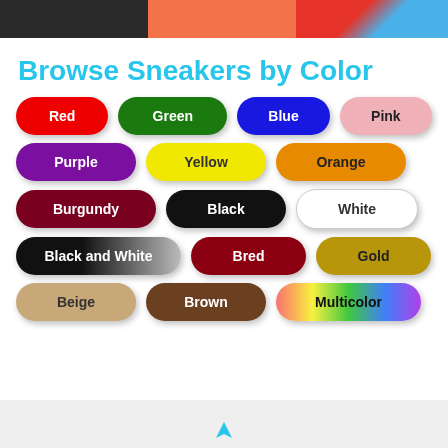[Figure (photo): Three images at top: dark scene, orange/salmon color swatch, sneaker with red and blue shoe box]
Browse Sneakers by Color
Red
Green
Blue
Pink
Purple
Yellow
Orange
Burgundy
Black
White
Black and White
Bred
Gold
Beige
Brown
Multicolor